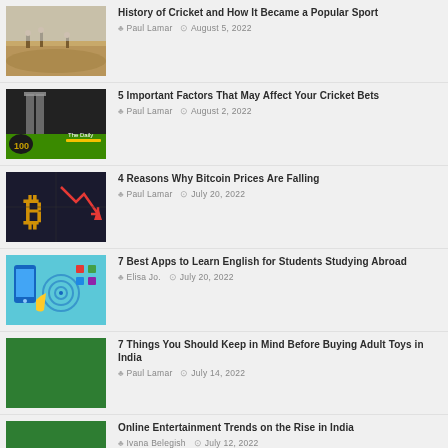History of Cricket and How It Became a Popular Sport | Paul Lamar | August 5, 2022
5 Important Factors That May Affect Your Cricket Bets | Paul Lamar | August 2, 2022
4 Reasons Why Bitcoin Prices Are Falling | Paul Lamar | July 20, 2022
7 Best Apps to Learn English for Students Studying Abroad | Elisa Jo. | July 20, 2022
7 Things You Should Keep in Mind Before Buying Adult Toys in India | Paul Lamar | July 14, 2022
Online Entertainment Trends on the Rise in India | Ivana Belegish | July 12, 2022